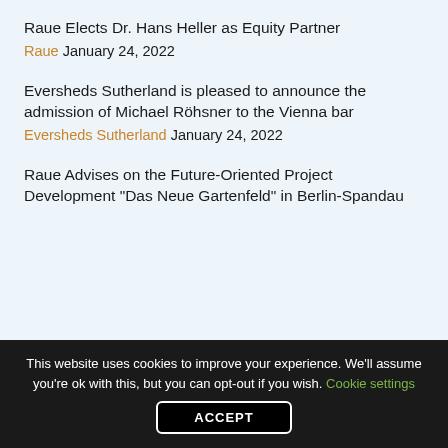Raue Elects Dr. Hans Heller as Equity Partner
Raue January 24, 2022
Eversheds Sutherland is pleased to announce the admission of Michael Röhsner to the Vienna bar
Eversheds Sutherland January 24, 2022
Raue Advises on the Future-Oriented Project Development “Das Neue Gartenfeld” in Berlin-Spandau
This website uses cookies to improve your experience. We'll assume you're ok with this, but you can opt-out if you wish. Cookie settings
ACCEPT